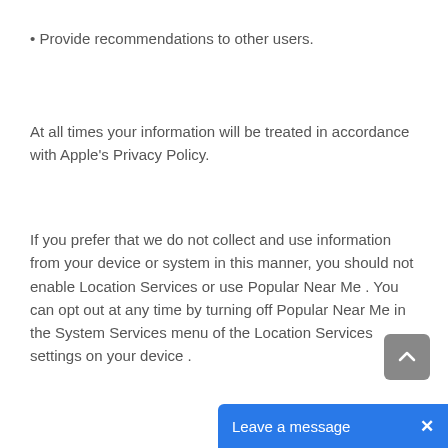• Provide recommendations to other users.
At all times your information will be treated in accordance with Apple's Privacy Policy.
If you prefer that we do not collect and use information from your device or system in this manner, you should not enable Location Services or use Popular Near Me . You can opt out at any time by turning off Popular Near Me in the System Services menu of the Location Services settings on your device .
[Figure (other): Scroll-to-top button (grey rounded square with upward chevron arrow)]
[Figure (other): Blue 'Leave a message' chat button bar with X close button]